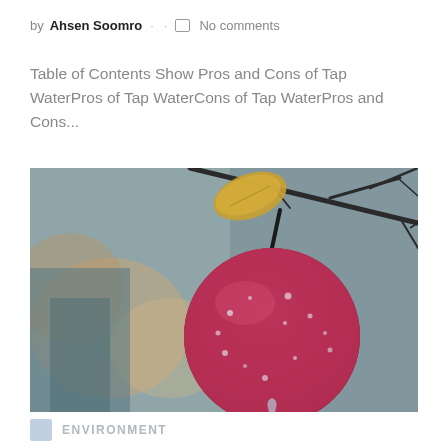by Ahsen Soomro · · □ No comments
Table of Contents Show Pros and Cons of Tap WaterPros of Tap WaterCons of Tap WaterPros and Cons...
[Figure (photo): Close-up photo of a red apple covered in water droplets hanging from a bare branch with a dry yellow leaf, blurred colorful background]
ENVIRONMENT